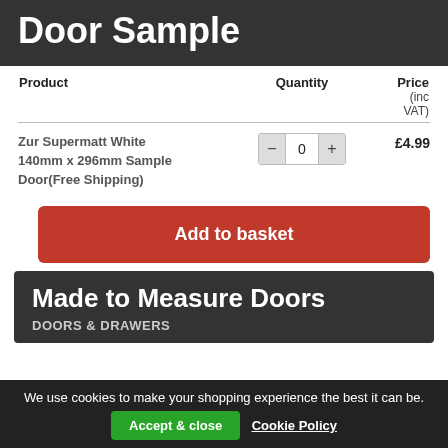Door Sample
| Product | Quantity | Price (inc VAT) |
| --- | --- | --- |
| Zur Supermatt White 140mm x 296mm Sample Door(Free Shipping) | 0 | £4.99 |
Add to basket
Made to Measure Doors
DOORS & DRAWERS
We use cookies to make your shopping experience the best it can be. Accept & close  Cookie Policy